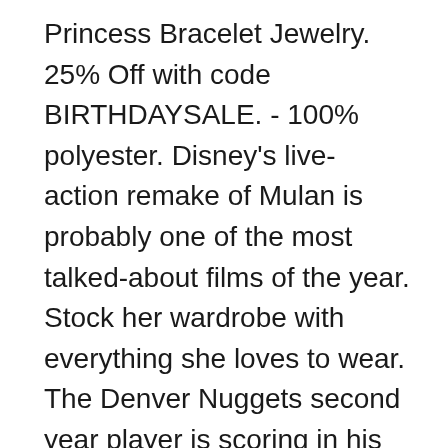Princess Bracelet Jewelry. 25% Off with code BIRTHDAYSALE. - 100% polyester. Disney's live-action remake of Mulan is probably one of the most talked-about films of the year. Stock her wardrobe with everything she loves to wear. The Denver Nuggets second year player is scoring in his personal life, and the big man is doing pretty well off the court. It was six day's ride from the village. Disney plans a global release for "Mulan" on August 21, but among the factors that could threaten the strategy are shaky China-U. For instance, Steel Rain 2: Summit fell 70% from last weekend to $1. Disney has delayed the release of Mulan indefinitely following a surge of coronavirus cases in North America. The Phoenix in "Mulan. Jul 27, 2021 · 21 Hits: 9128; Stranger From the